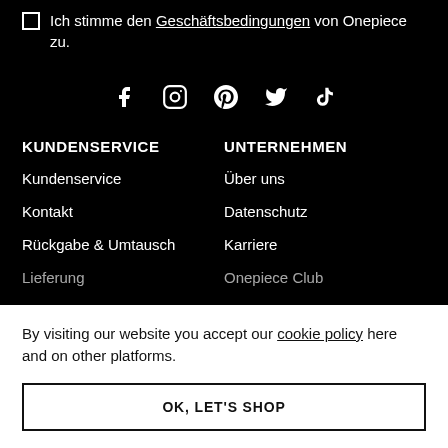Ich stimme den Geschäftsbedingungen von Onepiece zu.
[Figure (illustration): Social media icons: Facebook, Instagram, Pinterest, Twitter, TikTok displayed as white icons on black background]
KUNDENSERVICE
UNTERNEHMEN
Kundenservice
Über uns
Kontakt
Datenschutz
Rückgabe & Umtausch
Karriere
Lieferung
Onepiece Club
By visiting our website you accept our cookie policy here and on other platforms.
OK, LET'S SHOP